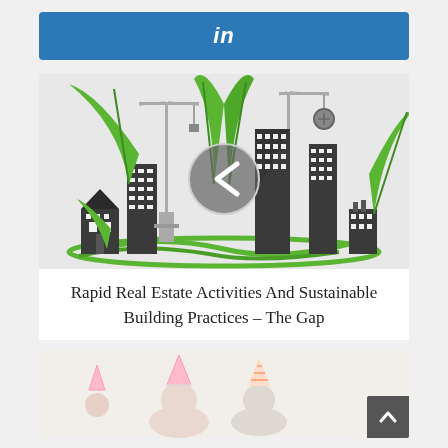[Figure (logo): LinkedIn blue bar with 'in' logo text in white italic on blue rounded rectangle button]
[Figure (illustration): Green sustainable city illustration with cranes, buildings, green leaves, and a circular back/previous navigation arrow overlay in center]
Rapid Real Estate Activities And Sustainable Building Practices – The Gap
[Figure (photo): Partial photo of children wearing party hats on light background, with a dark back-to-top arrow button overlay in bottom right corner]